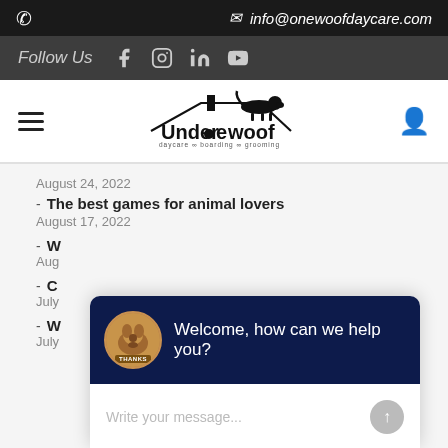📞  ✉ info@onewoofdaycare.com
Follow Us  [Facebook] [Instagram] [LinkedIn] [YouTube]
[Figure (logo): Under One Woof logo with dog silhouette on a rooftop outline. Tagline: daycare boarding grooming]
August 24, 2022
The best games for animal lovers
August 17, 2022
W...
Aug...
C...
July...
W...
July...
[Figure (screenshot): Chat widget overlay with dark navy header showing dog avatar and text 'Welcome, how can we help you?' and input field 'Write your message...']